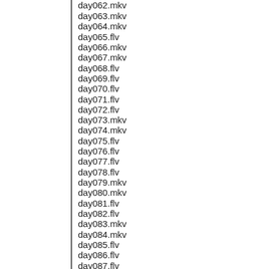day062.mkv (partial, cut off at top)
day063.mkv
day064.mkv
day065.flv
day066.mkv
day067.mkv
day068.flv
day069.flv
day070.flv
day071.flv
day072.flv
day073.mkv
day074.mkv
day075.flv
day076.flv
day077.flv
day078.flv
day079.mkv
day080.mkv
day081.flv
day082.flv
day083.mkv
day084.mkv
day085.flv
day086.flv
day087.flv (partial, cut off at bottom)